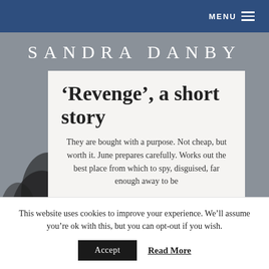MENU
SANDRA DANBY
‘Revenge’, a short story
They are bought with a purpose. Not cheap, but worth it. June prepares carefully. Works out the best place from which to spy, disguised, far enough away to be
This website uses cookies to improve your experience. We’ll assume you’re ok with this, but you can opt-out if you wish.
Accept
Read More